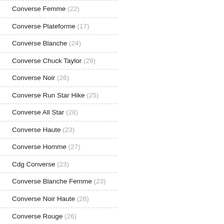Converse Femme (22)
Converse Plateforme (17)
Converse Blanche (24)
Converse Chuck Taylor (29)
Converse Noir (26)
Converse Run Star Hike (25)
Converse All Star (28)
Converse Haute (23)
Converse Homme (27)
Cdg Converse (23)
Converse Blanche Femme (23)
Converse Noir Haute (26)
Converse Rouge (26)
Converse Pas Cher (23)
Converse Enfant (30)
Converse Basse (27)